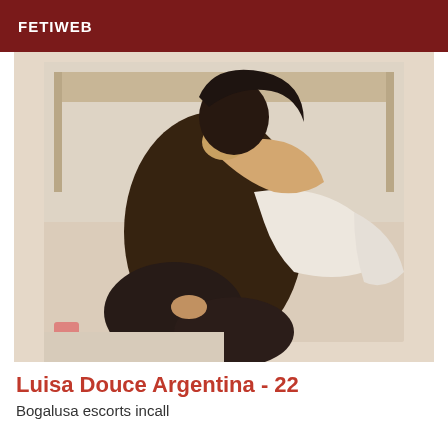FETIWEB
[Figure (photo): A young woman sitting and posing, wearing a white long-sleeve top and dark stockings, photographed indoors.]
Luisa Douce Argentina - 22
Bogalusa escorts incall